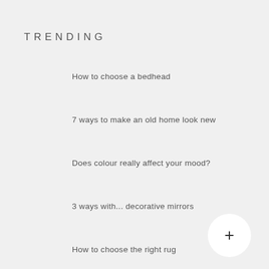TRENDING
How to choose a bedhead
7 ways to make an old home look new
Does colour really affect your mood?
3 ways with... decorative mirrors
How to choose the right rug